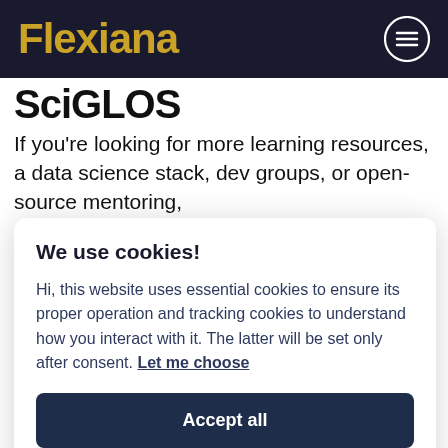Flexiana
SciGLOS
If you’re looking for more learning resources, a data science stack, dev groups, or open-source mentoring,
We use cookies!
Hi, this website uses essential cookies to ensure its proper operation and tracking cookies to understand how you interact with it. The latter will be set only after consent. Let me choose
Accept all
Reject all